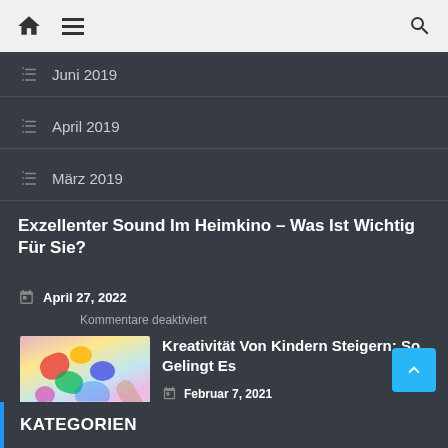Navigation bar with home, menu, and search icons
Juni 2019
April 2019
März 2019
Exzellenter Sound Im Heimkino – Was Ist Wichtig Für Sie?
April 27, 2022
Kommentare deaktiviert
[Figure (photo): Child's hands painting colorfully on paper with paint splatters]
Kreativität Von Kindern Steigern: So Gelingt Es
Februar 7, 2021
Kommentare deaktiviert
KATEGORIEN